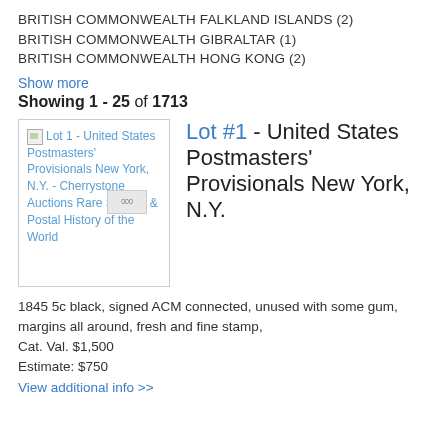BRITISH COMMONWEALTH FALKLAND ISLANDS (2)
BRITISH COMMONWEALTH GIBRALTAR (1)
BRITISH COMMONWEALTH HONG KONG (2)
Show more
Showing 1 - 25 of 1713
[Figure (screenshot): Broken image placeholder for Lot 1 - United States Postmasters' Provisionals New York, N.Y. - Cherrystone Auctions Rare Stamps & Postal History of the World]
Lot #1 - United States Postmasters' Provisionals New York, N.Y.
1845 5c black, signed ACM connected, unused with some gum, margins all around, fresh and fine stamp, Cat. Val. $1,500 Estimate: $750
View additional info >>